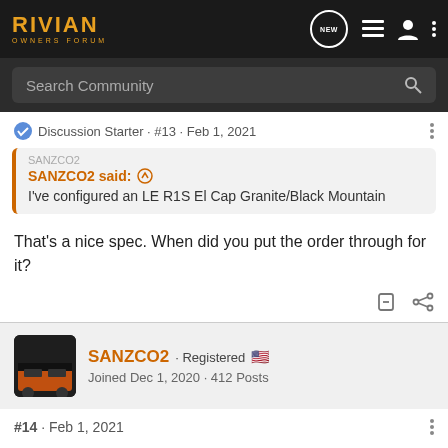RIVIAN OWNERS FORUM
Search Community
Discussion Starter · #13 · Feb 1, 2021
SANZCO2 said: ↑
I've configured an LE R1S El Cap Granite/Black Mountain
That's a nice spec. When did you put the order through for it?
SANZCO2 · Registered 🇺🇸
Joined Dec 1, 2020 · 412 Posts
#14 · Feb 1, 2021